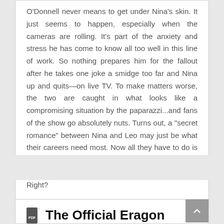O'Donnell never means to get under Nina's skin. It just seems to happen, especially when the cameras are rolling. It's part of the anxiety and stress he has come to know all too well in this line of work. So nothing prepares him for the fallout after he takes one joke a smidge too far and Nina up and quits—on live TV. To make matters worse, the two are caught in what looks like a compromising situation by the paparazzi...and fans of the show go absolutely nuts. Turns out, a "secret romance" between Nina and Leo may just be what their careers need most. Now all they have to do is play along, without killing each other...and without catching feelings. Easy as artisanal shepherd's pie. Right?
The Official Eragon